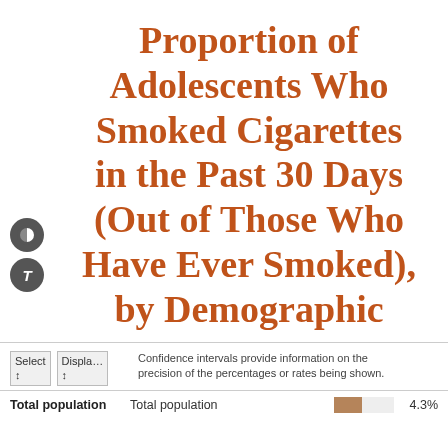Proportion of Adolescents Who Smoked Cigarettes in the Past 30 Days (Out of Those Who Have Ever Smoked), by Demographic Category
| Select | Display... | Note | Value |
| --- | --- | --- | --- |
| Total population | Total population | Confidence intervals provide information on the precision of the percentages or rates being shown. | 4.3% |